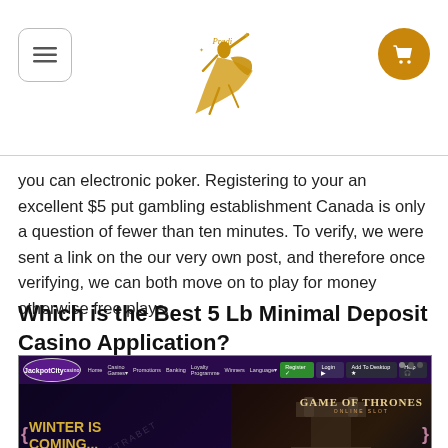[Logo: Prada-style dancer figure with golden dress]
you can electronic poker. Registering to your an excellent $5 put gambling establishment Canada is only a question of fewer than ten minutes. To verify, we were sent a link on the our very own post, and therefore once verifying, we can both move on to play for money otherwise free plays.
Which is the Best 5 Lb Minimal Deposit Casino Application?
[Figure (screenshot): Screenshot of JackpotCity Casino website showing 'WINTER IS COMING...' promotion with Game of Thrones Online Slot banner and SIGN UP button]